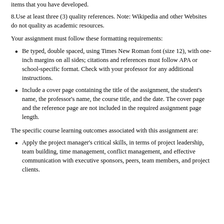items that you have developed.
8.Use at least three (3) quality references. Note: Wikipedia and other Websites do not quality as academic resources.
Your assignment must follow these formatting requirements:
Be typed, double spaced, using Times New Roman font (size 12), with one-inch margins on all sides; citations and references must follow APA or school-specific format. Check with your professor for any additional instructions.
Include a cover page containing the title of the assignment, the student’s name, the professor’s name, the course title, and the date. The cover page and the reference page are not included in the required assignment page length.
The specific course learning outcomes associated with this assignment are:
Apply the project manager’s critical skills, in terms of project leadership, team building, time management, conflict management, and effective communication with executive sponsors, peers, team members, and project clients.